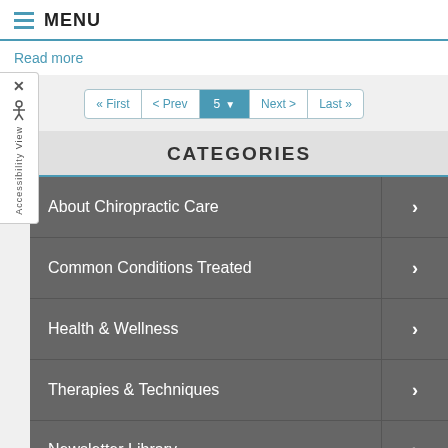MENU
Read more
« First  < Prev  5  Next >  Last »
CATEGORIES
About Chiropractic Care
Common Conditions Treated
Health & Wellness
Therapies & Techniques
Newsletter Library